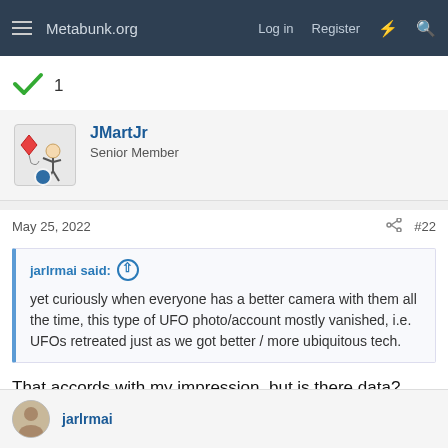Metabunk.org  Log in  Register
[Figure (other): Green checkmark icon with like count 1]
JMartJr
Senior Member
May 25, 2022  #22
jarlrmai said: yet curiously when everyone has a better camera with them all the time, this type of UFO photo/account mostly vanished, i.e. UFOs retreated just as we got better / more ubiquitous tech.
That accords with my impression, but is there data? Certainly we are not seeing the pics, but have the verbal reports of close encounters actually declined (or just become easier to discount on the grounds of "Where's the picture, then?")
jarlrmai